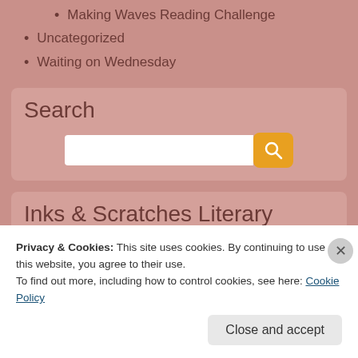Making Waves Reading Challenge
Uncategorized
Waiting on Wednesday
[Figure (screenshot): Search input box with orange search button containing a magnifying glass icon, inside a pink rounded container labeled 'Search']
Inks & Scratches Literary
Privacy & Cookies: This site uses cookies. By continuing to use this website, you agree to their use. To find out more, including how to control cookies, see here: Cookie Policy
Close and accept